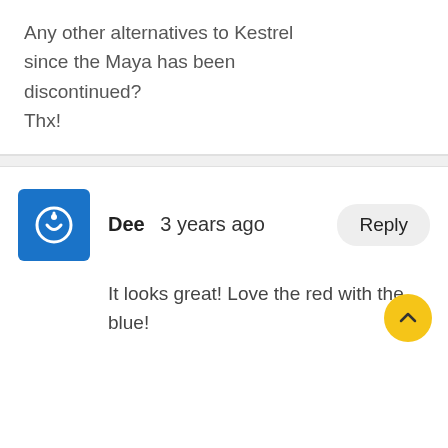Any other alternatives to Kestrel since the Maya has been discontinued? Thx!
Dee   3 years ago
It looks great! Love the red with the blue!